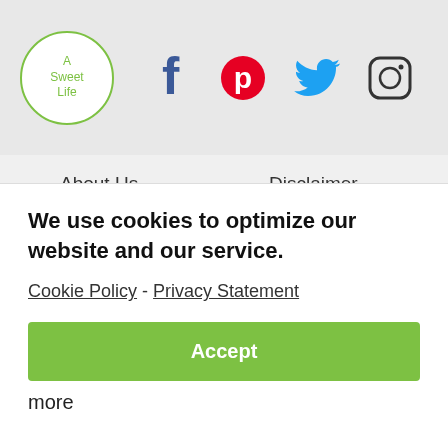[Figure (logo): A Sweet Life logo — circular green border with text 'A Sweet Life' inside]
[Figure (infographic): Social media icons: Facebook (dark blue f), Pinterest (red circle P), Twitter (blue bird), Instagram (camera outline)]
About Us
Disclaimer
Diabetes
Cookie Policy
Contributors
Privacy Statement
Books
Terms Of Use
Contact
Advertising Policy
Newsletter
Advertise With Us
We use cookies to optimize our website and our service.
Cookie Policy - Privacy Statement
Accept
more